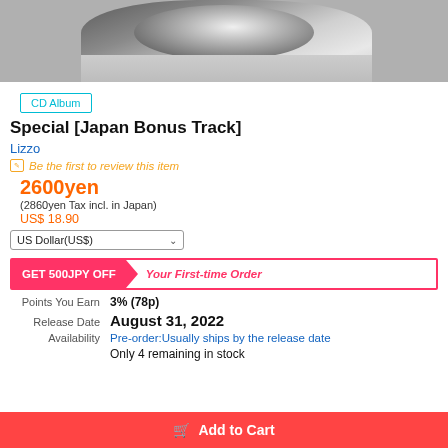[Figure (photo): Close-up black and white photo of a glittery/sequined object resting on a shoulder or body part]
CD Album
Special [Japan Bonus Track]
Lizzo
Be the first to review this item
2600yen
(2860yen Tax incl. in Japan)
US$ 18.90
US Dollar(US$)
GET 500JPY OFF  Your First-time Order
Points You Earn   3% (78p)
Release Date   August 31, 2022
Availability   Pre-order:Usually ships by the release date
Only 4 remaining in stock
Add to Cart